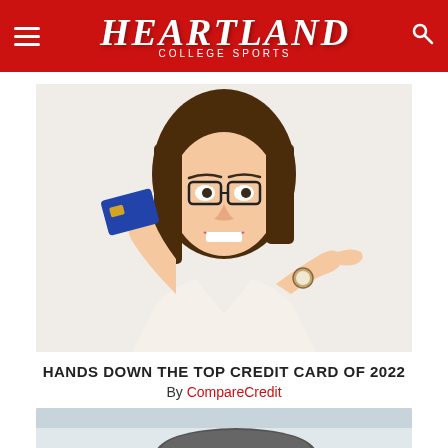Heartland College Sports
[Figure (photo): Woman with glasses in white shirt smiling excitedly, holding up a blue credit card and pointing at it with her other hand. She is wearing a watch.]
HANDS DOWN THE TOP CREDIT CARD OF 2022
By CompareCredit
[Figure (photo): Partial view of a second article image, appears to show a dark object on a light background, cropped at bottom of page.]